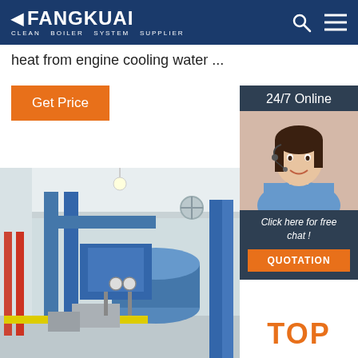FANGKUAI Clean Boiler System Supplier
heat from engine cooling water ...
Get Price
24/7 Online
[Figure (photo): Customer service agent (woman with headset) for 24/7 online support]
Click here for free chat !
QUOTATION
[Figure (photo): Industrial boiler room with blue pipes, yellow pipes, and large boiler equipment]
TOP